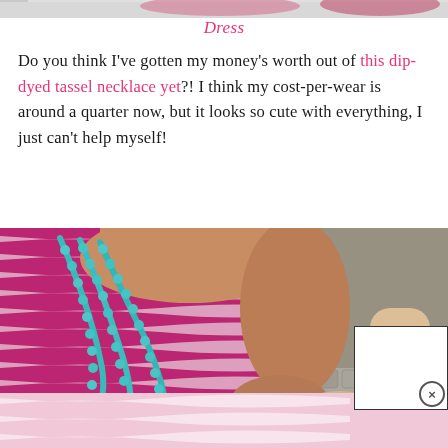[Figure (photo): Top partial strip of a photo showing pink/red shoes or accessories at the top of the page]
Dress
Do you think I've gotten my money's worth out of this dip-dyed tassel necklace yet?! I think my cost-per-wear is around a quarter now, but it looks so cute with everything, I just can't help myself!
[Figure (photo): Close-up photo of a woman wearing a magenta/pink and white striped dress with a long turquoise beaded necklace, holding hands with a child. Cobblestone background visible.]